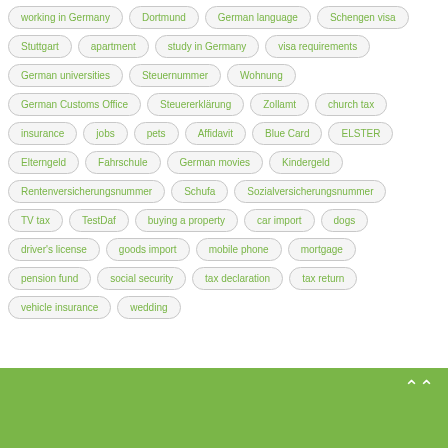working in Germany
Dortmund
German language
Schengen visa
Stuttgart
apartment
study in Germany
visa requirements
German universities
Steuernummer
Wohnung
German Customs Office
Steuererklärung
Zollamt
church tax
insurance
jobs
pets
Affidavit
Blue Card
ELSTER
Elterngeld
Fahrschule
German movies
Kindergeld
Rentenversicherungsnummer
Schufa
Sozialversicherungsnummer
TV tax
TestDaf
buying a property
car import
dogs
driver's license
goods import
mobile phone
mortgage
pension fund
social security
tax declaration
tax return
vehicle insurance
wedding